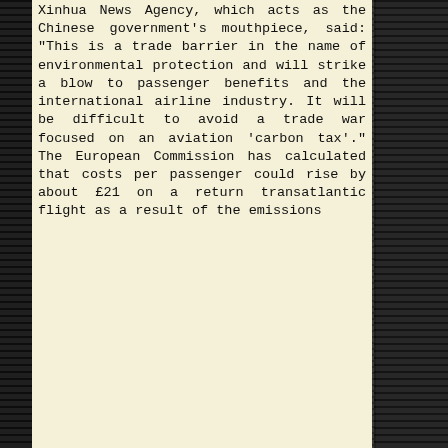Xinhua News Agency, which acts as the Chinese government's mouthpiece, said: "This is a trade barrier in the name of environmental protection and will strike a blow to passenger benefits and the international airline industry. It will be difficult to avoid a trade war focused on an aviation 'carbon tax'." The European Commission has calculated that costs per passenger could rise by about £21 on a return transatlantic flight as a result of the emissions
[Figure (other): Dark panel area with 'Couldn't load plugin.' message displayed in a grey rounded box. Above is a white-bordered dark rectangle (unloaded media/video plugin area).]